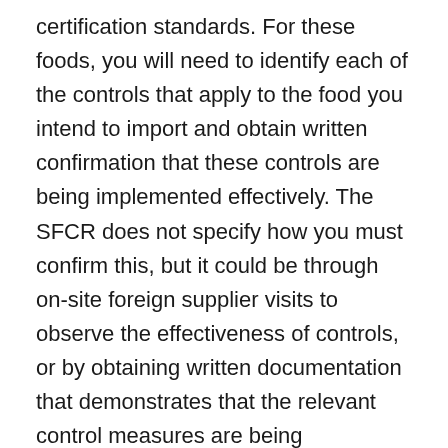certification standards. For these foods, you will need to identify each of the controls that apply to the food you intend to import and obtain written confirmation that these controls are being implemented effectively. The SFCR does not specify how you must confirm this, but it could be through on-site foreign supplier visits to observe the effectiveness of controls, or by obtaining written documentation that demonstrates that the relevant control measures are being implemented effectively. Documentation is to include: the name, address and contact